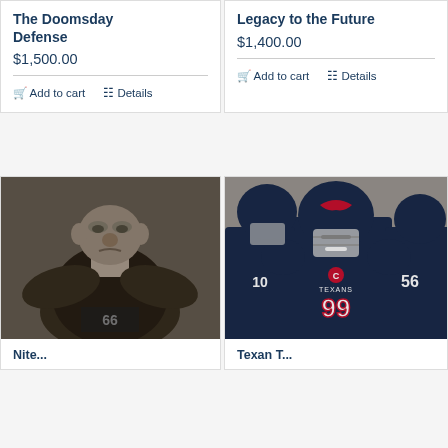The Doomsday Defense
$1,500.00
Add to cart  Details
Legacy to the Future
$1,400.00
Add to cart  Details
[Figure (photo): Black and white stylized illustration of a large muscular football player with a menacing expression, wearing a jersey with number 66, dark dramatic background]
Nite...
[Figure (photo): Color painting of Houston Texans football players in dark jerseys, with player number 99 prominently featured in the center, helmets on, looking intense]
Texan T...